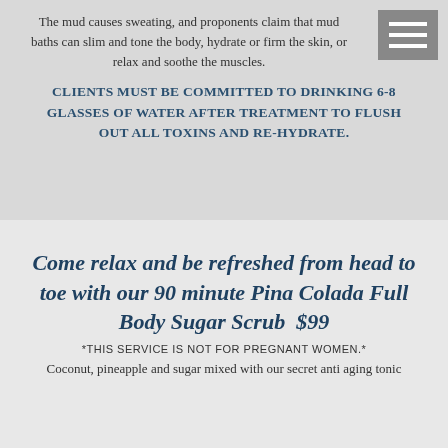The mud causes sweating, and proponents claim that mud baths can slim and tone the body, hydrate or firm the skin, or relax and soothe the muscles.
CLIENTS MUST BE COMMITTED TO DRINKING 6-8 GLASSES OF WATER AFTER TREATMENT TO FLUSH OUT ALL TOXINS AND RE-HYDRATE.
Come relax and be refreshed from head to toe with our 90 minute Pina Colada Full Body Sugar Scrub  $99
*THIS SERVICE IS NOT FOR PREGNANT WOMEN.*
Coconut, pineapple and sugar mixed with our secret anti aging tonic